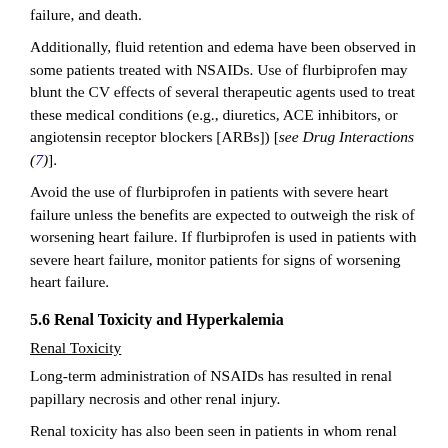failure, and death.
Additionally, fluid retention and edema have been observed in some patients treated with NSAIDs. Use of flurbiprofen may blunt the CV effects of several therapeutic agents used to treat these medical conditions (e.g., diuretics, ACE inhibitors, or angiotensin receptor blockers [ARBs]) [see Drug Interactions (7)].
Avoid the use of flurbiprofen in patients with severe heart failure unless the benefits are expected to outweigh the risk of worsening heart failure. If flurbiprofen is used in patients with severe heart failure, monitor patients for signs of worsening heart failure.
5.6 Renal Toxicity and Hyperkalemia
Renal Toxicity
Long-term administration of NSAIDs has resulted in renal papillary necrosis and other renal injury.
Renal toxicity has also been seen in patients in whom renal prostaglandins have a compensatory role in the maintenance of renal perfusion. In these patients, administration of an NSAID may cause a dose-dependent reduction in prostaglandin formation and, secondarily, in renal blood flow, which may precipitate overt renal decompensation. Patients at greatest risk